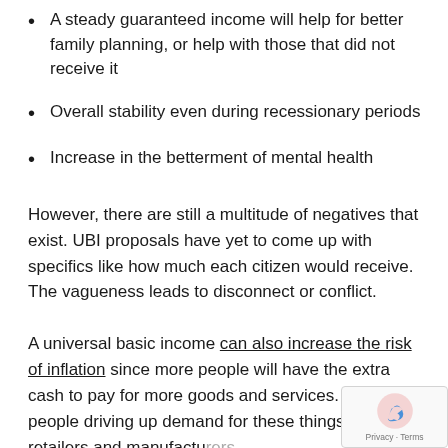A steady guaranteed income will help for better family planning, or help with those that did not receive it
Overall stability even during recessionary periods
Increase in the betterment of mental health
However, there are still a multitude of negatives that exist. UBI proposals have yet to come up with specifics like how much each citizen would receive. The vagueness leads to disconnect or conflict.
A universal basic income can also increase the risk of inflation since more people will have the extra cash to pay for more goods and services. With more people driving up demand for these things, not all retailers and manufacturers